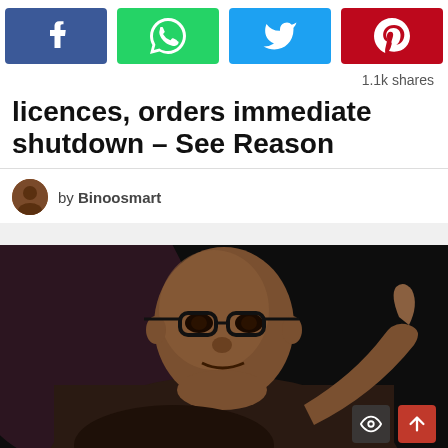[Figure (other): Social share buttons: Facebook (blue), WhatsApp (green), Twitter (light blue), Pinterest (red)]
1.1k shares
licences, orders immediate shutdown – See Reason
by Binoosmart
[Figure (photo): Photo of a man wearing glasses and a dark brown shirt, pointing with his index finger, against a dark background]